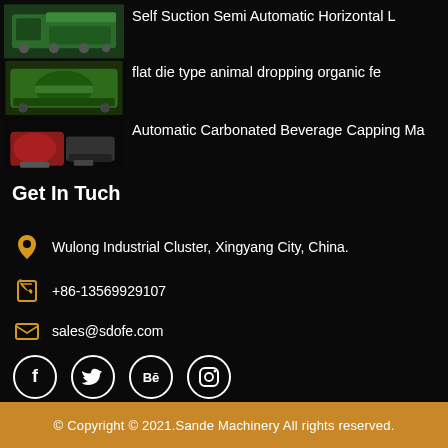[Figure (photo): Three product machinery images stacked vertically on left side: green industrial machine, green flat die machine, red carbonated beverage capping machine]
Self Suction Semi Automatic Horizontal L
flat die type animal dropping organic fe
Automatic Carbonated Beverage Capping Ma
Get In Tuch
Wulong Industrial Cluster, Xingyang City, China.
+86-13569929107
sales@sdofe.com
[Figure (infographic): Social media icons: Facebook, Twitter, Behance, Instagram — white circles with white icons on black background]
© Copyright © 2021.Sande Machinery All rights reserved.